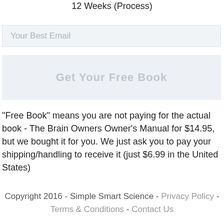12 Weeks (Process)
Your Best Email
[Figure (other): A button labeled 'Get Your Free Book']
"Free Book" means you are not paying for the actual book - The Brain Owners Owner's Manual for $14.95, but we bought it for you. We just ask you to pay your shipping/handling to receive it (just $6.99 in the United States)
Copyright 2016 - Simple Smart Science - Privacy Policy - Terms & Conditions - Contact Us